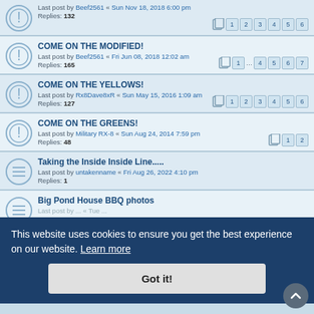Last post by Beef2561 « Sun Nov 18, 2018 6:00 pm
Replies: 132
COME ON THE MODIFIED!
Last post by Beef2561 « Fri Jun 08, 2018 12:02 am
Replies: 165
COME ON THE YELLOWS!
Last post by Rx8Dave8xR « Sun May 15, 2016 1:09 am
Replies: 127
COME ON THE GREENS!
Last post by Military RX-8 « Sun Aug 24, 2014 7:59 pm
Replies: 48
Taking the Inside Inside Line.....
Last post by untakenname « Fri Aug 26, 2022 4:10 pm
Replies: 1
Big Pond House BBQ photos
Last post by ...
They Got...
Arts Pantsy Fun
Last post by sKenDread « Thu Sep 16, 2021 7:00 pm
Replies: 9
This website uses cookies to ensure you get the best experience on our website. Learn more
Got it!